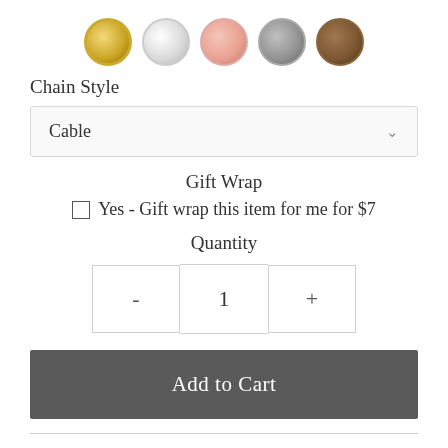[Figure (other): Five color swatch circles: gold (selected/highlighted), silver, rose gold, gray, brown]
Chain Style
Cable
Gift Wrap
Yes - Gift wrap this item for me for $7
Quantity
- 1 +
Add to Cart
Carry a little piece of nature with you in the